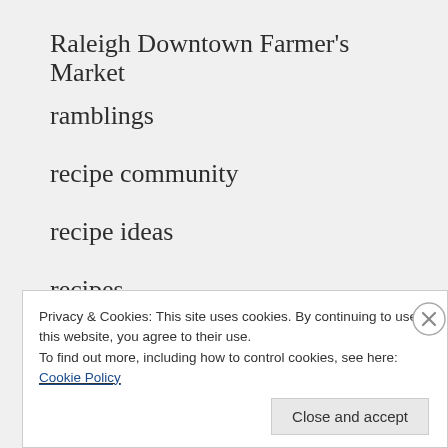Raleigh Downtown Farmer's Market
ramblings
recipe community
recipe ideas
recipes
recommended reading
red onions
Privacy & Cookies: This site uses cookies. By continuing to use this website, you agree to their use.
To find out more, including how to control cookies, see here: Cookie Policy
Close and accept